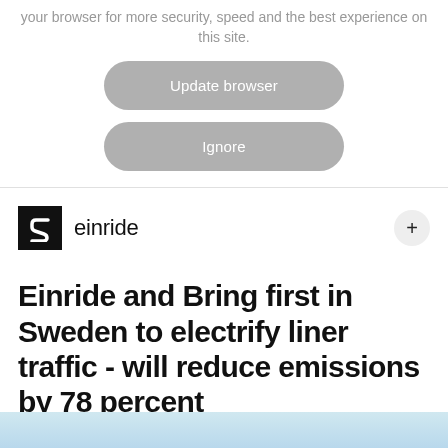your browser for more security, speed and the best experience on this site.
Update browser
Ignore
[Figure (logo): Einride logo: black square with white stylized S-like arrow mark, followed by the word 'einride' in lowercase]
Einride and Bring first in Sweden to electrify liner traffic - will reduce emissions by 78 percent